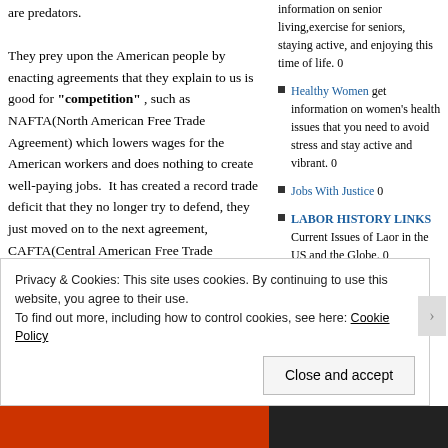are predators.
They prey upon the American people by enacting agreements that they explain to us is good for "competition" , such as NAFTA(North American Free Trade Agreement) which lowers wages for the American workers and does nothing to create well-paying jobs.  It has created a record trade deficit that they no longer try to defend, they just moved on to the next agreement, CAFTA(Central American Free Trade Agreement), passed in 2005, which allowed corporate America to reap huge profits from
information on senior living,exercise for seniors, staying active, and enjoying this time of life. 0
Healthy Women get information on women's health issues that you need to avoid stress and stay active and vibrant. 0
Jobs With Justice 0
LABOR HISTORY LINKS Current Issues of Laor in the US and the Globe. 0
Privacy & Cookies: This site uses cookies. By continuing to use this website, you agree to their use.
To find out more, including how to control cookies, see here: Cookie Policy
Close and accept